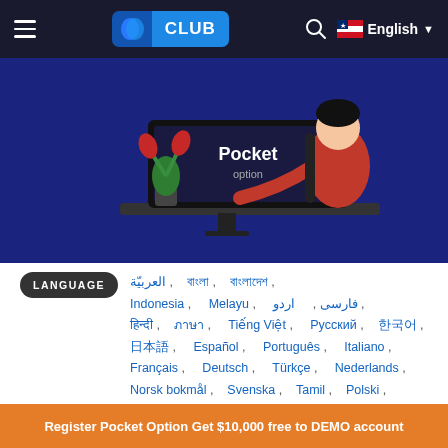D CLUB  English
[Figure (illustration): Pocket Option promotional illustration showing a person at a computer desk with the Pocket Option logo on screen and a red plant decoration]
LANGUAGE العربيّة , বাংলা , বাংলাদেশ , Indonesia , Melayu , فارسی , اردو , हिन्दी , ภาษา , Tiếng Việt , Русский , 한국어 , 日本語 , Español , Português , Italiano , Français , Deutsch , Türkçe , Nederlands , Norsk bokmål , Svenska , Tamil , Polski , Filipino , Română , Slovenčina , Zulu , Slovenščina
Register Pocket Option Get $10,000 free to DEMO account